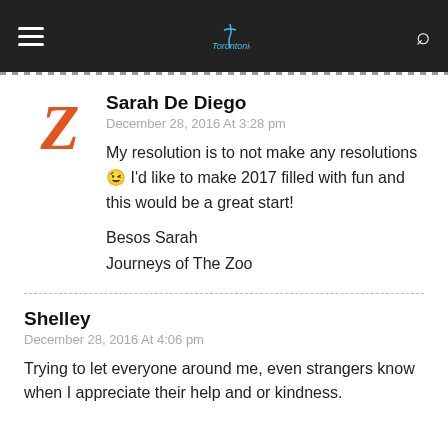Torontonicity [logo/nav bar]
Sarah De Diego
December 28, 2016 At 3:28 pm
My resolution is to not make any resolutions 😉 I'd like to make 2017 filled with fun and this would be a great start!

Besos Sarah
Journeys of The Zoo
Shelley
December 28, 2016 At 4:06 pm
Trying to let everyone around me, even strangers know when I appreciate their help and or kindness.